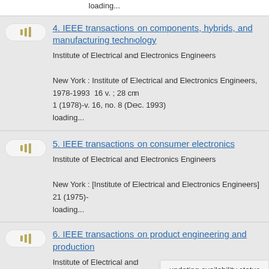loading...
4. IEEE transactions on components, hybrids, and manufacturing technology
Institute of Electrical and Electronics Engineers
New York : Institute of Electrical and Electronics Engineers, 1978-1993  16 v. ; 28 cm
1 (1978)-v. 16, no. 8 (Dec. 1993)
loading...
5. IEEE transactions on consumer electronics
Institute of Electrical and Electronics Engineers
New York : [Institute of Electrical and Electronics Engineers]
21 (1975)-
loading...
6. IEEE transactions on product engineering and production
Institute of Electrical and Electronics Engineers
Electrical and Electronics Engineers
Group on Product Engineering and Production
updating availability status information...